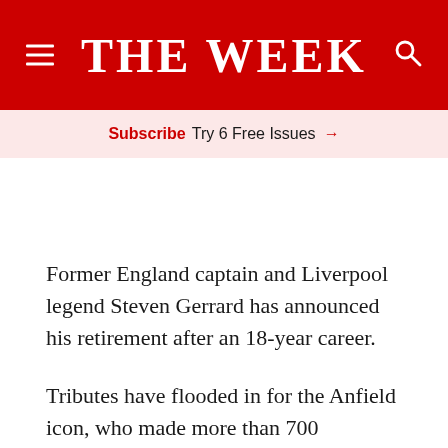THE WEEK
Subscribe Try 6 Free Issues →
Former England captain and Liverpool legend Steven Gerrard has announced his retirement after an 18-year career.
Tributes have flooded in for the Anfield icon, who made more than 700 appearances for his home-city